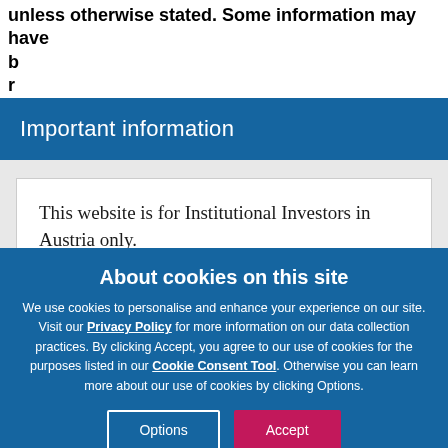unless otherwise stated. Some information may have b... r...
Important information
This website is for Institutional Investors in Austria only.
About cookies on this site
We use cookies to personalise and enhance your experience on our site. Visit our Privacy Policy for more information on our data collection practices. By clicking Accept, you agree to our use of cookies for the purposes listed in our Cookie Consent Tool. Otherwise you can learn more about our use of cookies by clicking Options.
Options
Accept